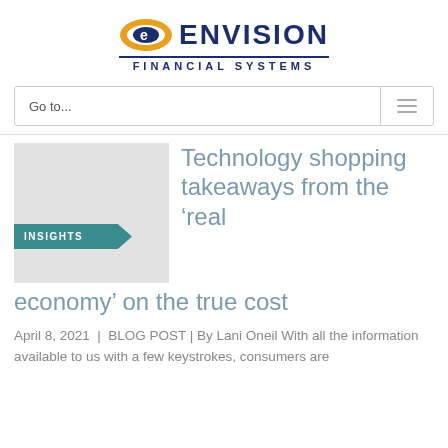[Figure (logo): Envision Financial Systems logo with orange eye icon and navy text]
Go to...
[Figure (illustration): Gray square thumbnail image with teal INSIGHTS badge/ribbon]
Technology shopping takeaways from the ‘real economy’ on the true cost
April 8, 2021  |  BLOG POST | By Lani Oneil With all the information available to us with a few keystrokes, consumers are